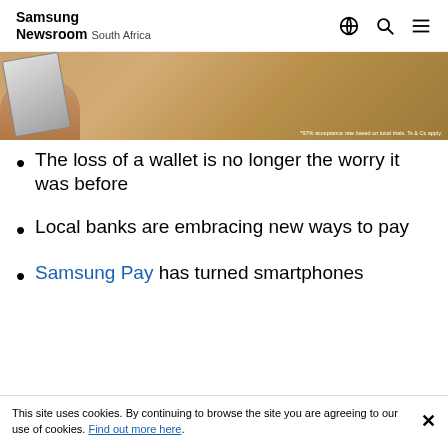Samsung Newsroom South Africa
[Figure (photo): A hand holding a payment card or phone over a wooden surface, with small text reading '*97% acceptance rate based on local trials. Ts & Cs apply.']
The loss of a wallet is no longer the worry it was before
Local banks are embracing new ways to pay
Samsung Pay has turned smartphones
This site uses cookies. By continuing to browse the site you are agreeing to our use of cookies. Find out more here.